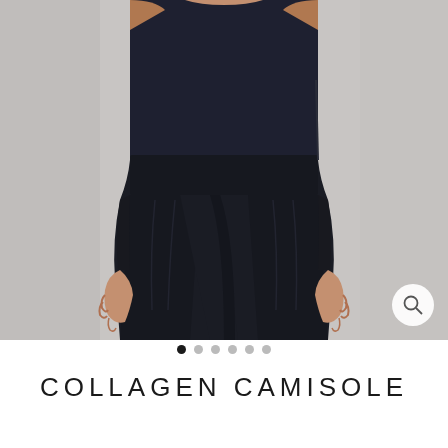[Figure (photo): Close-up photo of a woman's torso wearing a fitted black camisole top tucked into wide-leg black pants, shot against a light grey background. Her hands are visible at her sides.]
● ○ ○ ○ ○ ○
COLLAGEN CAMISOLE